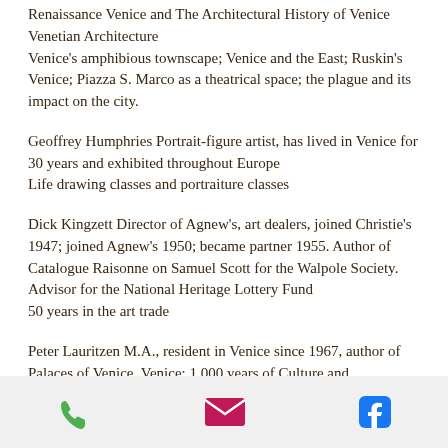Renaissance Venice and The Architectural History of Venice
Venetian Architecture
Venice's amphibious townscape; Venice and the East; Ruskin's Venice; Piazza S. Marco as a theatrical space; the plague and its impact on the city.
Geoffrey Humphries Portrait-figure artist, has lived in Venice for 30 years and exhibited throughout Europe
Life drawing classes and portraiture classes
Dick Kingzett Director of Agnew's, art dealers, joined Christie's 1947; joined Agnew's 1950; became partner 1955. Author of Catalogue Raisonne on Samuel Scott for the Walpole Society. Advisor for the National Heritage Lottery Fund
50 years in the art trade
Peter Lauritzen M.A., resident in Venice since 1967, author of Palaces of Venice, Venice: 1,000 years of Culture and Civilization, The Islands and Lagoons of Venice and UNESCO report: Venice Restored, editor at large of Architectural Digest.
[phone] [email] [facebook]